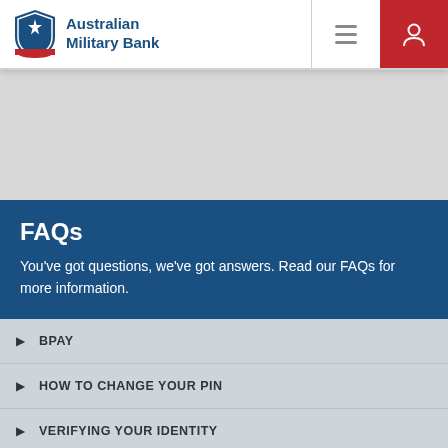Australian Military Bank
[Figure (screenshot): Grey banner area placeholder]
FAQs
You've got questions, we've got answers. Read our FAQs for more information.
BPAY
HOW TO CHANGE YOUR PIN
VERIFYING YOUR IDENTITY